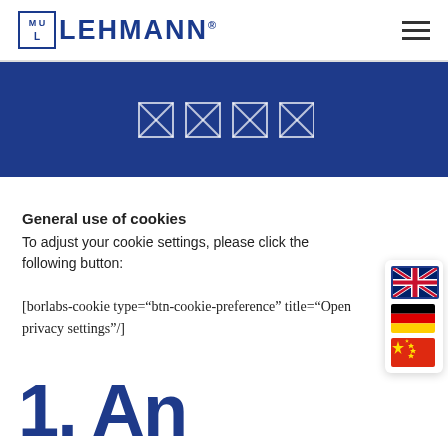LEHMANN [logo with hamburger menu]
[Figure (other): Blue banner with four placeholder/icon squares in white outline]
General use of cookies
To adjust your cookie settings, please click the following button:
[borlabs-cookie type="btn-cookie-preference" title="Open privacy settings"/]
[Figure (other): Language selector panel with UK flag, German flag, and Chinese flag]
1. An